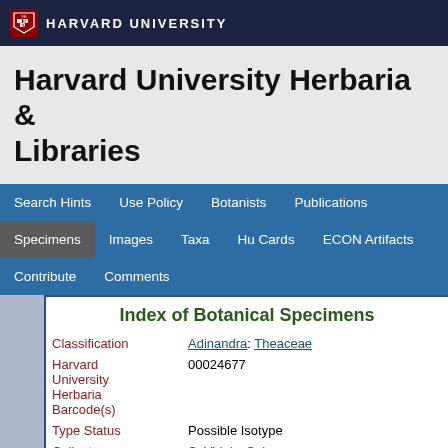HARVARD UNIVERSITY
Harvard University Herbaria & Libraries
Search Hints | Use Policy | Botanists | Publications | Specimens | Images | Taxa | Hu Cards | ECON Artifacts | Contribute | Comments
Index of Botanical Specimens
| Field | Value |
| --- | --- |
| Classification | Adinandra: Theaceae |
| Harvard University Herbaria Barcode(s) | 00024677 |
| Type Status | Possible Isotype |
| Collector | S. Vidal y Soler |
| Collector number | 60 |
| Country | Philippines |